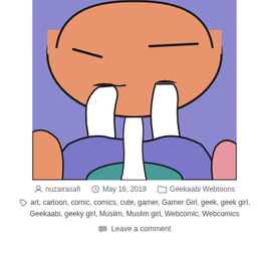[Figure (illustration): Close-up cartoon illustration of a crying face with big teardrop streams. Character has peach/salmon skin, a purple-blue background and shirt, with stylized bold black outlines. Large white wavy tear streams fall from below the eyes. Minimalist cartoon style.]
nuzairasafi   May 16, 2019   Geekaabi Webtoons
art, cartoon, comic, comics, cute, gamer, Gamer Girl, geek, geek girl, Geekaabi, geeky girl, Muslim, Muslim girl, Webcomic, Webcomics
Leave a comment